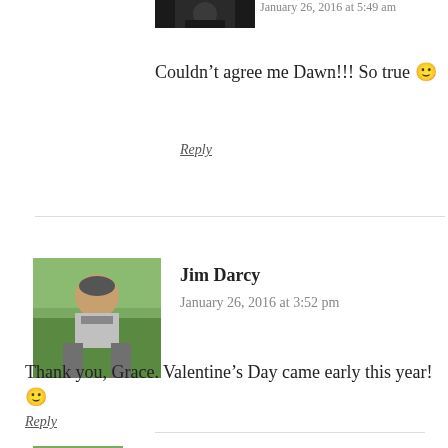[Figure (photo): Small avatar/profile image at top of page, partially cropped]
January 26, 2016 at 5:49 am
Couldn't agree me Dawn!!! So true 🙂
Reply
[Figure (photo): Profile photo of Jim Darcy, man outdoors with trees in background]
Jim Darcy
January 26, 2016 at 3:52 pm
Thank you, Grace. Valentine's Day came early this year! 🙂
Reply
[Figure (photo): Small avatar/profile image at bottom, partially cropped]